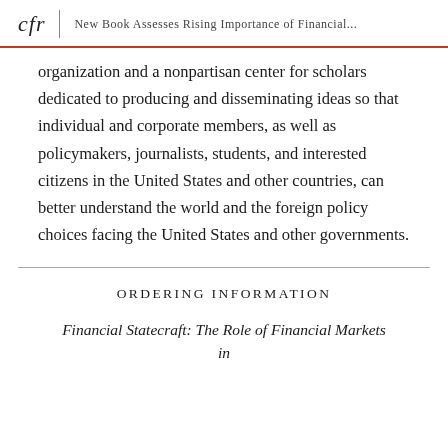cfr | New Book Assesses Rising Importance of Financial...
organization and a nonpartisan center for scholars dedicated to producing and disseminating ideas so that individual and corporate members, as well as policymakers, journalists, students, and interested citizens in the United States and other countries, can better understand the world and the foreign policy choices facing the United States and other governments.
ORDERING INFORMATION
Financial Statecraft: The Role of Financial Markets in